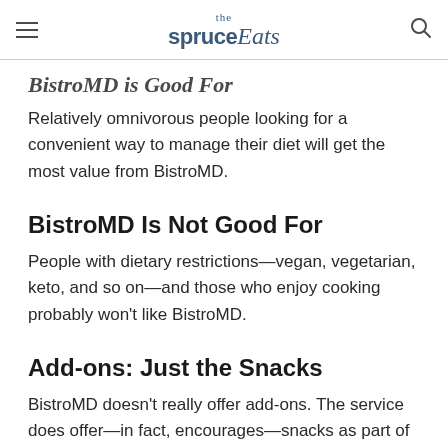the spruce Eats
BistroMD is Good For
Relatively omnivorous people looking for a convenient way to manage their diet will get the most value from BistroMD.
BistroMD Is Not Good For
People with dietary restrictions—vegan, vegetarian, keto, and so on—and those who enjoy cooking probably won't like BistroMD.
Add-ons: Just the Snacks
BistroMD doesn't really offer add-ons. The service does offer—in fact, encourages—snacks as part of its program, but they aren't